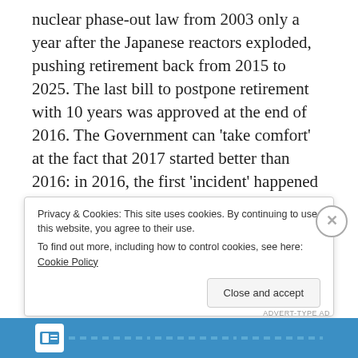nuclear phase-out law from 2003 only a year after the Japanese reactors exploded, pushing retirement back from 2015 to 2025. The last bill to postpone retirement with 10 years was approved at the end of 2016. The Government can 'take comfort' at the fact that 2017 started better than 2016: in 2016, the first 'incident' happened just two days into the New Year on January 2; in 2017 the first incident (in which one person got severely injured) took place eight days later on January 10 with an
Privacy & Cookies: This site uses cookies. By continuing to use this website, you agree to their use. To find out more, including how to control cookies, see here: Cookie Policy
Close and accept